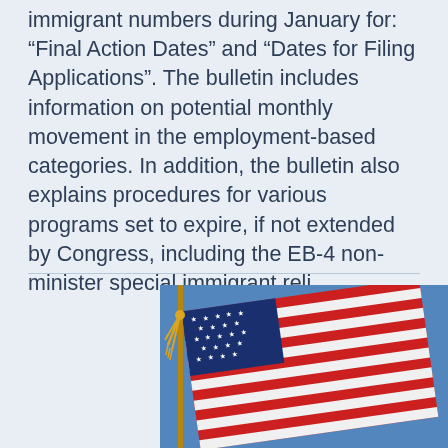immigrant numbers during January for: “Final Action Dates” and “Dates for Filing Applications”. The bulletin includes information on potential monthly movement in the employment-based categories. In addition, the bulletin also explains procedures for various programs set to expire, if not extended by Congress, including the EB-4 non-minister special immigrant reli
[Figure (photo): Photograph of an American flag waving against a clear blue sky, with a gold tassel visible on the left side of the flagpole.]